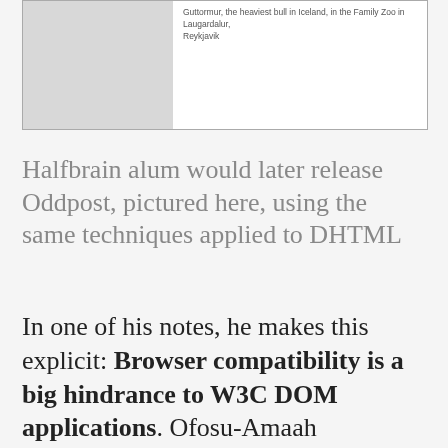[Figure (photo): An image box with a gray placeholder image on the left and a caption on the right reading: Guttormur, the heaviest bull in Iceland, in the Family Zoo in Laugardalur, Reykjavik.]
Halfbrain alum would later release Oddpost, pictured here, using the same techniques applied to DHTML
In one of his notes, he makes this explicit: Browser compatibility is a big hindrance to W3C DOM applications. Ofosu-Amaah recognized that some sites required features and technologies that weren't universally accessible, and thus locked some users out of the experience entirely (people using older browsers for instance). And in the